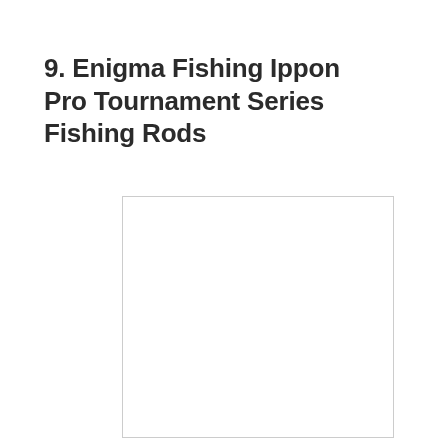9. Enigma Fishing Ippon Pro Tournament Series Fishing Rods
[Figure (photo): Placeholder image box for Enigma Fishing Ippon Pro Tournament Series Fishing Rods product photo]